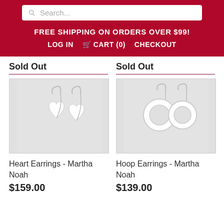Search...
FREE SHIPPING ON ORDERS OVER $99!
LOG IN   CART (0)   CHECKOUT
Sold Out
Sold Out
[Figure (photo): Heart-shaped white earrings on hooks, shown against light marbled background]
[Figure (photo): Hoop-style white circular earrings on hooks, shown against light marbled background]
Heart Earrings - Martha Noah
Hoop Earrings - Martha Noah
$159.00
$139.00